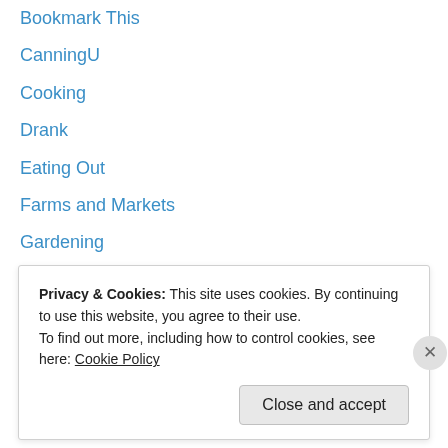Bookmark This
CanningU
Cooking
Drank
Eating Out
Farms and Markets
Gardening
Guest Relocavores
Locavore Survival Guide
Putting Food By
retail
Roadtripping
This Week in Breakfast
Privacy & Cookies: This site uses cookies. By continuing to use this website, you agree to their use.
To find out more, including how to control cookies, see here: Cookie Policy
Close and accept